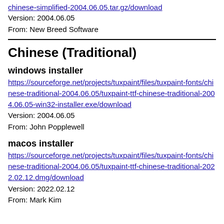chinese-simplified-2004.06.05.tar.gz/download
Version: 2004.06.05
From: New Breed Software
Chinese (Traditional)
windows installer
https://sourceforge.net/projects/tuxpaint/files/tuxpaint-fonts/chinese-traditional-2004.06.05/tuxpaint-ttf-chinese-traditional-2004.06.05-win32-installer.exe/download
Version: 2004.06.05
From: John Popplewell
macos installer
https://sourceforge.net/projects/tuxpaint/files/tuxpaint-fonts/chinese-traditional-2004.06.05/tuxpaint-ttf-chinese-traditional-2022.02.12.dmg/download
Version: 2022.02.12
From: Mark Kim